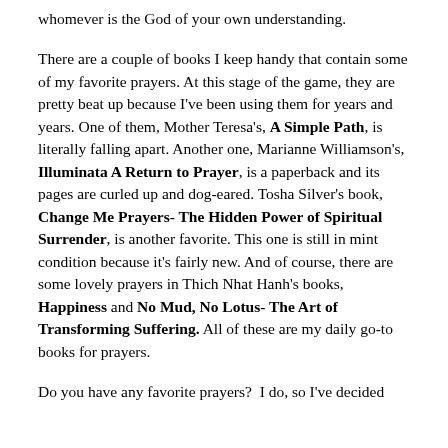whomever is the God of your own understanding.
There are a couple of books I keep handy that contain some of my favorite prayers. At this stage of the game, they are pretty beat up because I've been using them for years and years. One of them, Mother Teresa's, A Simple Path, is literally falling apart. Another one, Marianne Williamson's, Illuminata A Return to Prayer, is a paperback and its pages are curled up and dog-eared. Tosha Silver's book, Change Me Prayers- The Hidden Power of Spiritual Surrender, is another favorite. This one is still in mint condition because it's fairly new. And of course, there are some lovely prayers in Thich Nhat Hanh's books, Happiness and No Mud, No Lotus- The Art of Transforming Suffering. All of these are my daily go-to books for prayers.
Do you have any favorite prayers?  I do, so I've decided